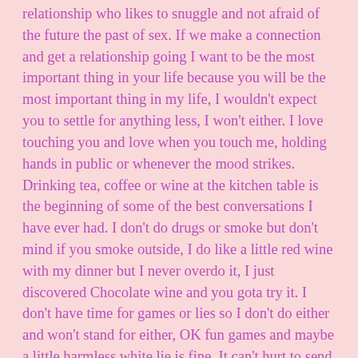relationship who likes to snuggle and not afraid of the future the past of sex. If we make a connection and get a relationship going I want to be the most important thing in your life because you will be the most important thing in my life, I wouldn't expect you to settle for anything less, I won't either. I love touching you and love when you touch me, holding hands in public or whenever the mood strikes. Drinking tea, coffee or wine at the kitchen table is the beginning of some of the best conversations I have ever had. I don't do drugs or smoke but don't mind if you smoke outside, I do like a little red wine with my dinner but I never overdo it, I just discovered Chocolate wine and you gota try it. I don't have time for games or lies so I don't do either and won't stand for either, OK fun games and maybe a little harmless white lie is fine. It can't hurt to send me an E-mail let's talk I will send you my Phone number or you can send me yours, I really hate talking through an uncaring keyboard, I want you to hear my voice and to hear yours. We need each other or I would not be writing these words and you would not be reading my words. I posted my photos and I expect your reply will have a good photo that's fair isn't it!. Well I opened up my self and I hope that makes you want to Email me, I know you are out there and now you know I am here waiting. Put "snuggle" or "cuddle" in your subject line or both if you are in a hurry. Call me Dan (and for the right